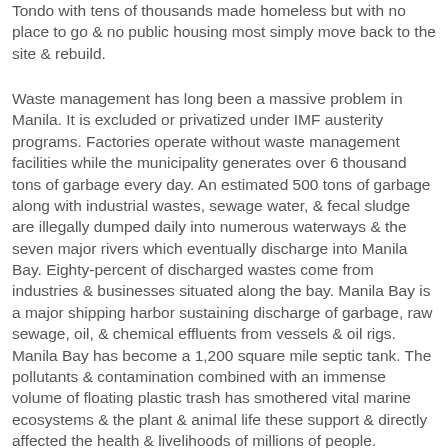Tondo with tens of thousands made homeless but with no place to go & no public housing most simply move back to the site & rebuild.
Waste management has long been a massive problem in Manila. It is excluded or privatized under IMF austerity programs. Factories operate without waste management facilities while the municipality generates over 6 thousand tons of garbage every day. An estimated 500 tons of garbage along with industrial wastes, sewage water, & fecal sludge are illegally dumped daily into numerous waterways & the seven major rivers which eventually discharge into Manila Bay. Eighty-percent of discharged wastes come from industries & businesses situated along the bay. Manila Bay is a major shipping harbor sustaining discharge of garbage, raw sewage, oil, & chemical effluents from vessels & oil rigs. Manila Bay has become a 1,200 square mile septic tank. The pollutants & contamination combined with an immense volume of floating plastic trash has smothered vital marine ecosystems & the plant & animal life these support & directly affected the health & livelihoods of millions of people.